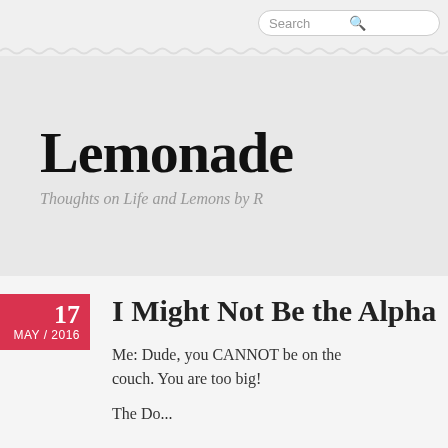Search
Lemonade
Thoughts on Life and Lemons by R
17 MAY / 2016 — I Might Not Be the Alpha
Me: Dude, you CANNOT be on the couch. You are too big!
The Do...